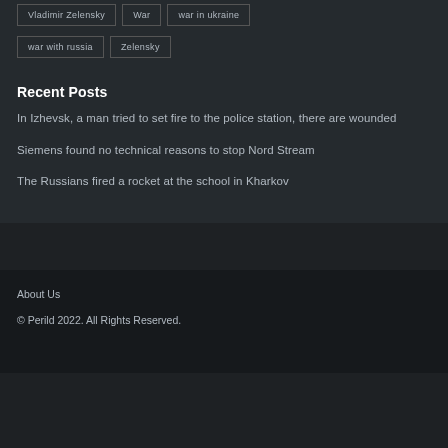Vladimir Zelensky
War
war in ukraine
war with russia
Zelensky
Recent Posts
In Izhevsk, a man tried to set fire to the police station, there are wounded
Siemens found no technical reasons to stop Nord Stream
The Russians fired a rocket at the school in Kharkov
About Us
© Perild 2022. All Rights Reserved.